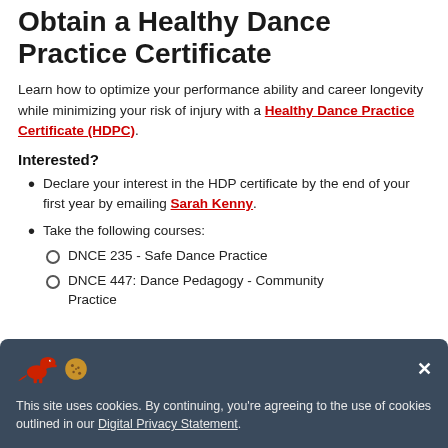Obtain a Healthy Dance Practice Certificate
Learn how to optimize your performance ability and career longevity while minimizing your risk of injury with a Healthy Dance Practice Certificate (HDPC).
Interested?
Declare your interest in the HDP certificate by the end of your first year by emailing Sarah Kenny.
Take the following courses:
DNCE 235 - Safe Dance Practice
DNCE 447: Dance Pedagogy - Community Practice
This site uses cookies. By continuing, you're agreeing to the use of cookies outlined in our Digital Privacy Statement.